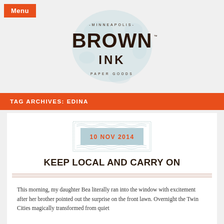[Figure (logo): Brown Ink Paper Goods Minneapolis logo with ink splash background, serif lettering]
TAG ARCHIVES: EDINA
[Figure (other): Date badge showing 10 NOV 2014 on a light blue/teal rectangle with wavy decorative border]
KEEP LOCAL AND CARRY ON
This morning, my daughter Bea literally ran into the window with excitement after her brother pointed out the surprise on the front lawn. Overnight the Twin Cities magically transformed from quiet